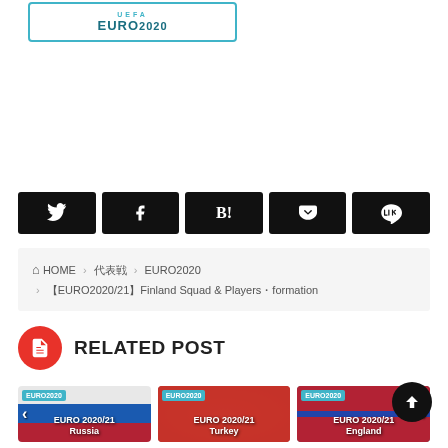[Figure (logo): UEFA EURO 2020 logo inside a teal bordered box]
[Figure (infographic): Social share buttons row: Twitter, Facebook, Hatena Bookmark, Pocket, LINE — all black rectangular buttons with white icons]
HOME > 代表戦 > EURO2020 > 【EURO2020/21】Finland Squad & Players・formation
RELATED POST
[Figure (illustration): Three related post thumbnail cards: EURO 2020/21 Russia (left arrow), EURO 2020/21 Turkey (center), EURO 2020/21 England (right arrow). Each has a blue EURO2020 badge.]